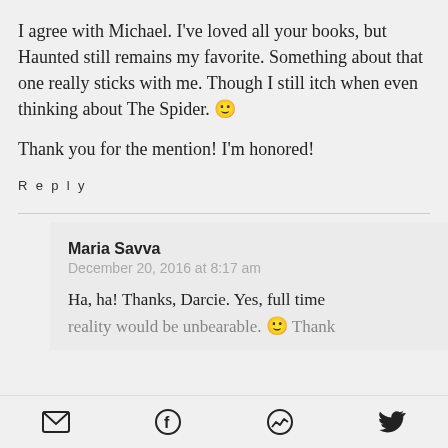I agree with Michael. I've loved all your books, but Haunted still remains my favorite. Something about that one really sticks with me. Though I still itch when even thinking about The Spider. 🙂
Thank you for the mention! I'm honored!
Reply
Maria Savva
December 20, 2016 at 8:17 am
Ha, ha! Thanks, Darcie. Yes, full time reality would be unbearable. 🙂 Thank
email | facebook | messenger | twitter